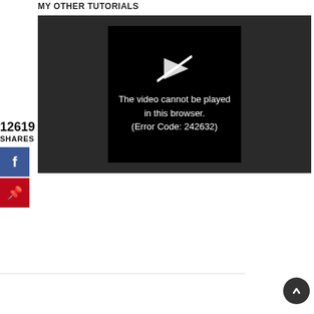MY OTHER TUTORIALS
[Figure (screenshot): Video player showing error message: 'The video cannot be played in this browser. (Error Code: 242632)']
12619
SHARES
[Figure (other): Facebook share button (blue)]
[Figure (other): Pinterest save button (red)]